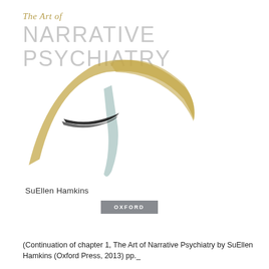The Art of NARRATIVE PSYCHIATRY
[Figure (illustration): Abstract brush stroke illustration showing a golden/tan arc sweep with a lighter teal/grey vertical stroke and a dark black diagonal stroke, forming an artistic abstract composition]
SuEllen Hamkins
[Figure (logo): Oxford University Press grey rectangular badge with text OXFORD]
(Continuation of chapter 1, The Art of Narrative Psychiatry by SuEllen Hamkins (Oxford Press, 2013) pp._